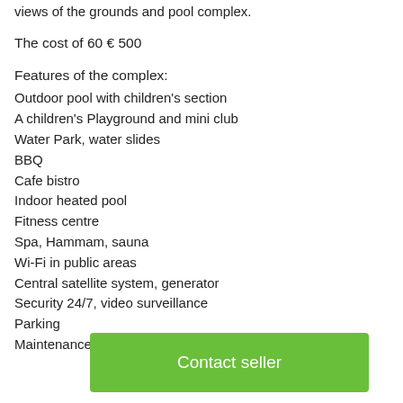views of the grounds and pool complex.
The cost of 60 € 500
Features of the complex:
Outdoor pool with children's section
A children's Playground and mini club
Water Park, water slides
BBQ
Cafe bistro
Indoor heated pool
Fitness centre
Spa, Hammam, sauna
Wi-Fi in public areas
Central satellite system, generator
Security 24/7, video surveillance
Parking
Maintenance of the complex 150 Turkish Lira a month.
[Figure (other): Green Contact seller button overlay]
Victo...
Phone : 8 800 700 48 45 (toll Free from all regions of Russia)
Tel. Mob: +90 553 326 87 17 (Viber, Whatsapp)